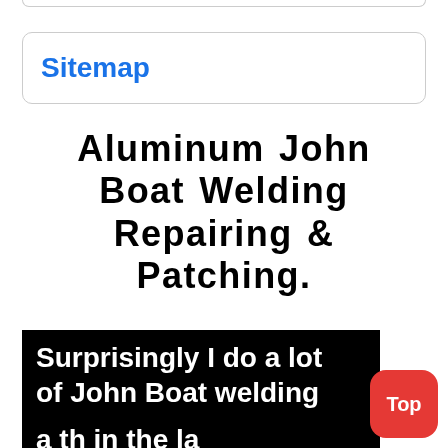Sitemap
Aluminum John Boat Welding Repairing & Patching.
Surprisingly I do a lot of John Boat welding